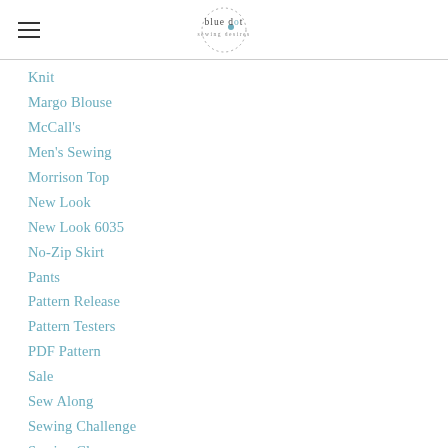blue dot sewing desires
Knit
Margo Blouse
McCall's
Men's Sewing
Morrison Top
New Look
New Look 6035
No-Zip Skirt
Pants
Pattern Release
Pattern Testers
PDF Pattern
Sale
Sew Along
Sewing Challenge
Sewing Class
SewIt2017